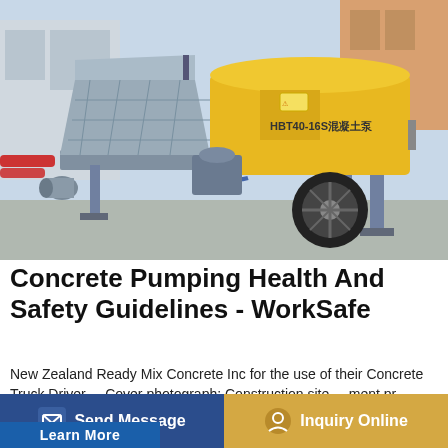[Figure (photo): A yellow and grey concrete pump machine (HBT40-16S) on a construction site. The machine has a large grey hopper/feed tray on the left, yellow body with Chinese text and model number on the side, hydraulic hoses, a large black rubber wheel, and grey metal frame legs. Background shows a building and industrial yard.]
Concrete Pumping Health And Safety Guidelines - WorkSafe
New Zealand Ready Mix Concrete Inc for the use of their Concrete Truck Driver ... Cover photograph: Construction site ... ment pr...